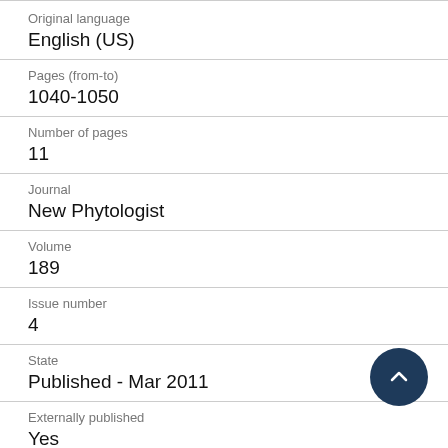Original language
English (US)
Pages (from-to)
1040-1050
Number of pages
11
Journal
New Phytologist
Volume
189
Issue number
4
State
Published - Mar 2011
Externally published
Yes